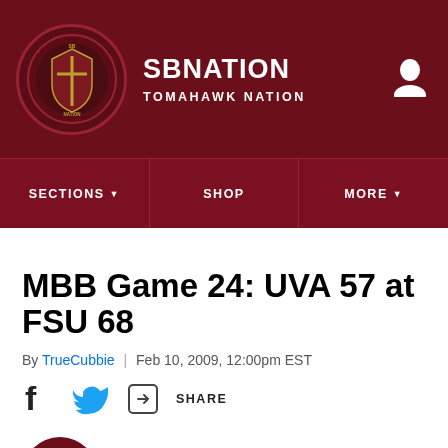SB NATION | TOMAHAWK NATION
[Figure (screenshot): SBNation Tomahawk Nation website navigation header with logo, site name, and nav links: SECTIONS, SHOP, MORE]
MBB Game 24: UVA 57 at FSU 68
By TrueCubbie | Feb 10, 2009, 12:00pm EST
[Figure (infographic): Social share icons: Facebook, Twitter, and a share icon with SHARE label]
[Figure (infographic): Listen to this article audio player with play button and audio waveform visualization]